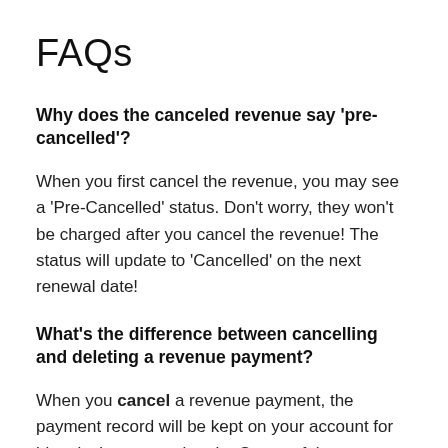FAQs
Why does the canceled revenue say 'pre-cancelled'?
When you first cancel the revenue, you may see a 'Pre-Cancelled' status. Don't worry, they won't be charged after you cancel the revenue! The status will update to 'Cancelled' on the next renewal date!
What's the difference between cancelling and deleting a revenue payment?
When you cancel a revenue payment, the payment record will be kept on your account for historical purposes but the Status of the transaction will be marked as Cancelled. The revenue amount will not be